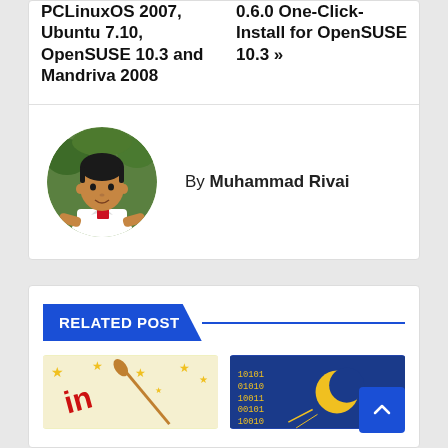PCLinuxOS 2007, Ubuntu 7.10, OpenSUSE 10.3 and Mandriva 2008
0.6.0 One-Click-Install for OpenSUSE 10.3 »
By Muhammad Rivai
[Figure (photo): Circular avatar photo of Muhammad Rivai, a man in a white polo shirt, seated outdoors with green foliage background]
RELATED POST
[Figure (illustration): Illustration related to Linux — shows stars, a broom/wand, and text 'in' in red, suggesting a Linux-themed graphic]
[Figure (logo): Logo on dark blue background with binary digits (01010) and a crescent moon, likely a Linux distribution logo]